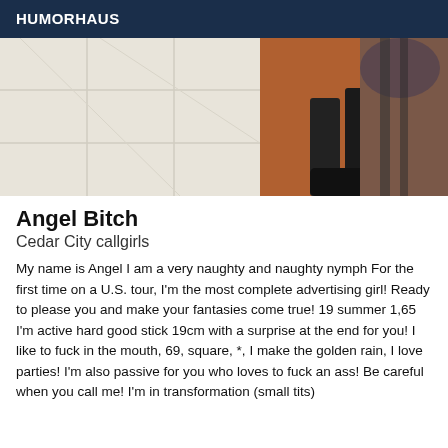HUMORHAUS
[Figure (photo): Partial photo showing what appears to be tiled floor/wall surfaces and dark boots or heels in the right portion of the image]
Angel Bitch
Cedar City callgirls
My name is Angel I am a very naughty and naughty nymph For the first time on a U.S. tour, I'm the most complete advertising girl! Ready to please you and make your fantasies come true! 19 summer 1,65 I'm active hard good stick 19cm with a surprise at the end for you! I like to fuck in the mouth, 69, square, *, I make the golden rain, I love parties! I'm also passive for you who loves to fuck an ass! Be careful when you call me! I'm in transformation (small tits)